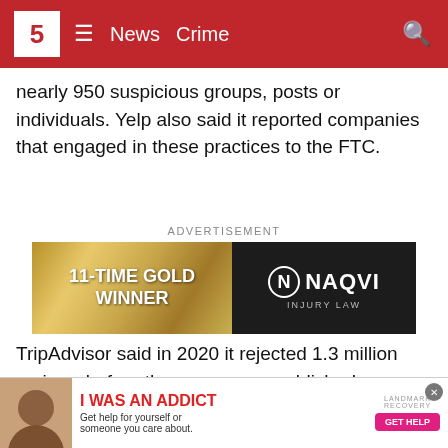5 News Crime
nearly 950 suspicious groups, posts or individuals. Yelp also said it reported companies that engaged in these practices to the FTC.
[Figure (screenshot): NAQVI INJURY LAW advertisement banner — left half has gold texture with text '11-TIME GOLD WINNER', right half is dark with NAQVI INJURY LAW logo]
TripAdvisor said in 2020 it rejected 1.3 million reviews before they were ever published.
In a statement, the company wrote “while we believe in the right to write about one’s travel experience, we block millions of reviews from ever appearing on our site that do not me
[Figure (screenshot): Bottom ad banner: 'I WAS AN ADDICT - Get help for yourself or someone you care about. Landmark Recovery GET HELP']